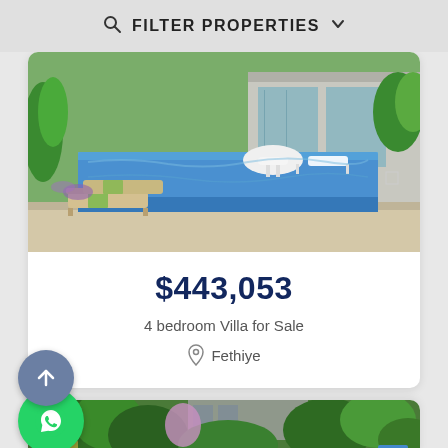FILTER PROPERTIES
[Figure (photo): Outdoor swimming pool with lounge chairs and a modern villa in background, surrounded by green garden]
$443,053
4 bedroom Villa for Sale
Fethiye
[Figure (photo): Second property listing showing a building surrounded by dense green trees with blue furniture visible]